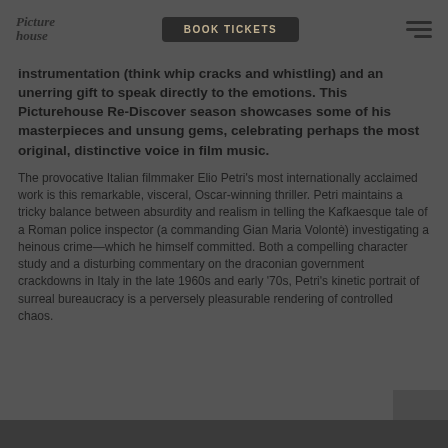Picture House | BOOK TICKETS
instrumentation (think whip cracks and whistling) and an unerring gift to speak directly to the emotions. This Picturehouse Re-Discover season showcases some of his masterpieces and unsung gems, celebrating perhaps the most original, distinctive voice in film music.
The provocative Italian filmmaker Elio Petri’s most internationally acclaimed work is this remarkable, visceral, Oscar-winning thriller. Petri maintains a tricky balance between absurdity and realism in telling the Kafkaesque tale of a Roman police inspector (a commanding Gian Maria Volontè) investigating a heinous crime—which he himself committed. Both a compelling character study and a disturbing commentary on the draconian government crackdowns in Italy in the late 1960s and early ‘70s, Petri’s kinetic portrait of surreal bureaucracy is a perversely pleasurable rendering of controlled chaos.